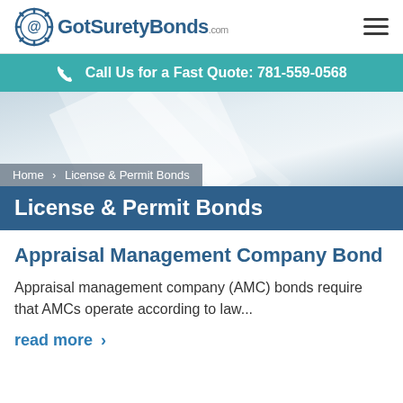[Figure (logo): GotSuretyBonds.com logo with gear/at-symbol icon and hamburger menu]
Call Us for a Fast Quote: 781-559-0568
[Figure (photo): Blurred light/abstract background hero image]
Home › License & Permit Bonds
License & Permit Bonds
Appraisal Management Company Bond
Appraisal management company (AMC) bonds require that AMCs operate according to law...
read more ›